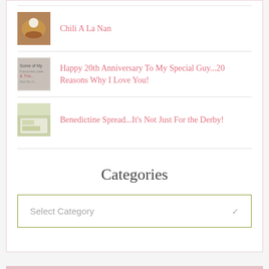Chili A La Nan
Happy 20th Anniversary To My Special Guy...20 Reasons Why I Love You!
Benedictine Spread...It's Not Just For the Derby!
Categories
Select Category